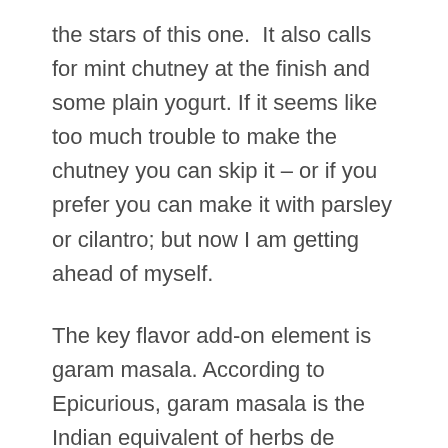the stars of this one.  It also calls for mint chutney at the finish and some plain yogurt. If it seems like too much trouble to make the chutney you can skip it – or if you prefer you can make it with parsley or cilantro; but now I am getting ahead of myself.
The key flavor add-on element is garam masala. According to Epicurious, garam masala is the Indian equivalent of herbs de Provence, or the Chinese five spice powder. The mixture changes based upon where you are in India, but it typically contains black and white pepper, cinnamon, nutmeg, mace cardamom, bay leaf and cumin. Of course you